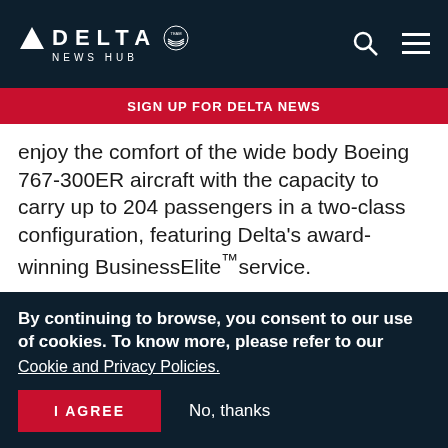DELTA NEWS HUB
SIGN UP FOR DELTA NEWS
enjoy the comfort of the wide body Boeing 767-300ER aircraft with the capacity to carry up to 204 passengers in a two-class configuration, featuring Delta's award-winning BusinessElite™service.
Delta's schedule between New York-JFK and Budapest, effective May 8, 2006:
By continuing to browse, you consent to our use of cookies. To know more, please refer to our Cookie and Privacy Policies.
I AGREE
No, thanks